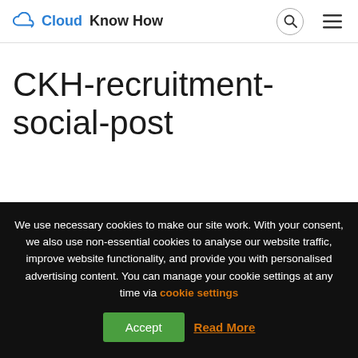Cloud Know How
CKH-recruitment-social-post
We use necessary cookies to make our site work. With your consent, we also use non-essential cookies to analyse our website traffic, improve website functionality, and provide you with personalised advertising content. You can manage your cookie settings at any time via cookie settings